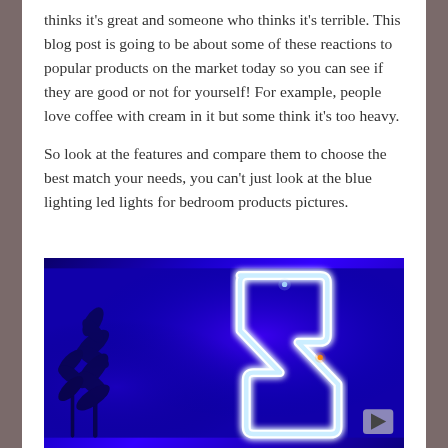thinks it's great and someone who thinks it's terrible. This blog post is going to be about some of these reactions to popular products on the market today so you can see if they are good or not for yourself! For example, people love coffee with cream in it but some think it's too heavy.

So look at the features and compare them to choose the best match your needs, you can't just look at the blue lighting led lights for bedroom products pictures.
[Figure (photo): A blue neon LED lightning bolt sign glowing against a deep blue background, with dark plant silhouettes on the left and a small triangle icon in the bottom right corner.]